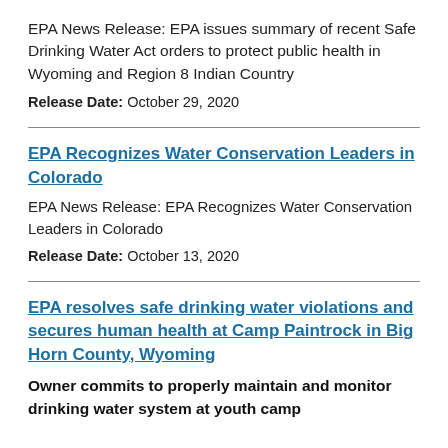EPA News Release: EPA issues summary of recent Safe Drinking Water Act orders to protect public health in Wyoming and Region 8 Indian Country
Release Date: October 29, 2020
EPA Recognizes Water Conservation Leaders in Colorado
EPA News Release: EPA Recognizes Water Conservation Leaders in Colorado
Release Date: October 13, 2020
EPA resolves safe drinking water violations and secures human health at Camp Paintrock in Big Horn County, Wyoming
Owner commits to properly maintain and monitor drinking water system at youth camp